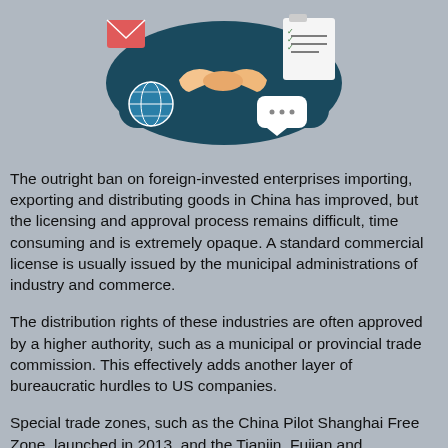[Figure (illustration): Colorful flat-style illustration showing a handshake in the center with icons of a globe, speech bubble with ellipsis, envelope, and a checklist clipboard around it, on a dark teal background shape.]
The outright ban on foreign-invested enterprises importing, exporting and distributing goods in China has improved, but the licensing and approval process remains difficult, time consuming and is extremely opaque. A standard commercial license is usually issued by the municipal administrations of industry and commerce.
The distribution rights of these industries are often approved by a higher authority, such as a municipal or provincial trade commission. This effectively adds another layer of bureaucratic hurdles to US companies.
Special trade zones, such as the China Pilot Shanghai Free Zone, launched in 2013, and the Tianjin, Fujian and Guangdong Free Trade Zones, are currently experimenting with regulatory reform and sectoral pilot projects that could increase market opportunities.